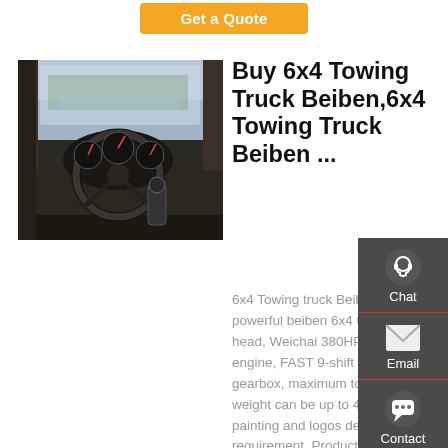[Figure (other): Orange 'Get a Quote' button at the top of the page]
[Figure (photo): Interior view of a truck cab showing the steering wheel, dashboard, and gauges]
Buy 6x4 Towing Truck Beiben,6x4 Towing Truck Beiben ...
6x4 Towing truck Beiben Super powerful beiben 6x4 tractor head, Weichai 380HP diesel engine, FAST 9-shift manual gearbox, maximum towing weight can be up to 40Tons, painting and logos depend on requirement. Product Origin: China ChuSheng Item No.
[Figure (infographic): Right sidebar with Chat, Email, Contact, and Top navigation icons on dark grey background]